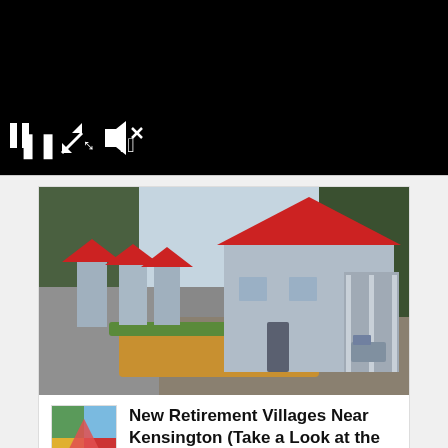[Figure (screenshot): Black video player with pause, expand, and mute controls at bottom left]
[Figure (photo): Advertisement photo showing a row of small residential homes/cabins with red roofs and blue-grey siding along a pathway with hedges and orange mulch. Logo of green/blue/yellow/red squares. Title: New Retirement Villages Near Kensington (Take a Look at the Prices). Sponsored by Branded Links.]
Dark Phoenix is promised as "the perfect sendoff for our X-Men team." It will be the "final chapter" for the X-Men world. #CinemaCon